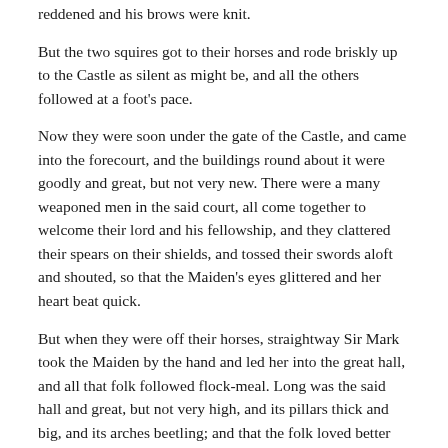reddened and his brows were knit.
But the two squires got to their horses and rode briskly up to the Castle as silent as might be, and all the others followed at a foot’s pace.
Now they were soon under the gate of the Castle, and came into the forecourt, and the buildings round about it were goodly and great, but not very new. There were a many weaponed men in the said court, all come together to welcome their lord and his fellowship, and they clattered their spears on their shields, and tossed their swords aloft and shouted, so that the Maiden’s eyes glittered and her heart beat quick.
But when they were off their horses, straightway Sir Mark took the Maiden by the hand and led her into the great hall, and all that folk followed flock-meal. Long was the said hall and great, but not very high, and its pillars thick and big, and its arches beetling; and that the folk loved better than flower-fair building, for very ancient it was and of all honour. Ancient withal were its adornments, and its halling was of the story of Troy,